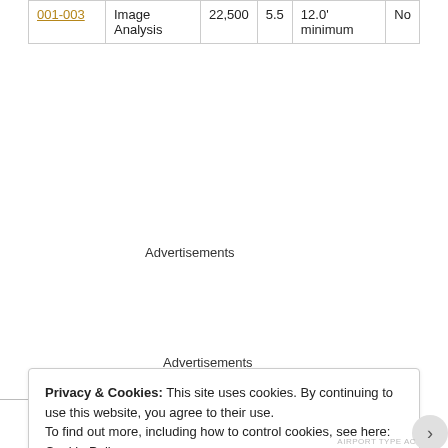| 001-003 | Image Analysis | 22,500 | 5.5 | 12.0' minimum | No |
Advertisements
Advertisements
Privacy & Cookies: This site uses cookies. By continuing to use this website, you agree to their use.
To find out more, including how to control cookies, see here: Cookie Policy
Close and accept